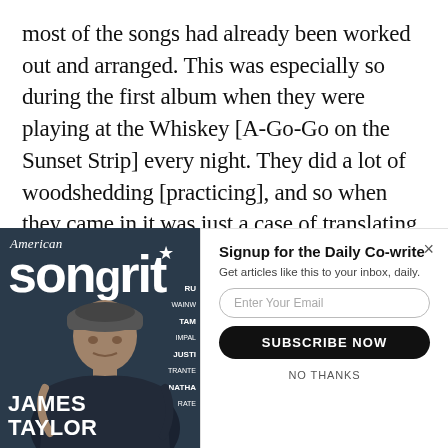most of the songs had already been worked out and arranged. This was especially so during the first album when they were playing at the Whiskey [A-Go-Go on the Sunset Strip] every night. They did a lot of woodshedding [practicing], and so when they came in it was just a case of translating the material into an album. There was some doubling of Jim's vocals and
[Figure (photo): American Songwriter magazine cover featuring James Taylor, with popup newsletter signup overlay]